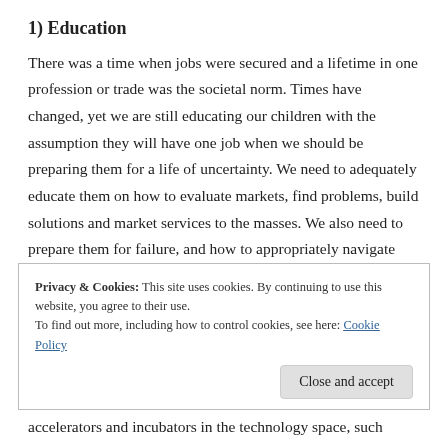1) Education
There was a time when jobs were secured and a lifetime in one profession or trade was the societal norm. Times have changed, yet we are still educating our children with the assumption they will have one job when we should be preparing them for a life of uncertainty. We need to adequately educate them on how to evaluate markets, find problems, build solutions and market services to the masses. We also need to prepare them for failure, and how to appropriately navigate around it when it inevitably hits.
Privacy & Cookies: This site uses cookies. By continuing to use this website, you agree to their use.
To find out more, including how to control cookies, see here: Cookie Policy
Close and accept
accelerators and incubators in the technology space, such